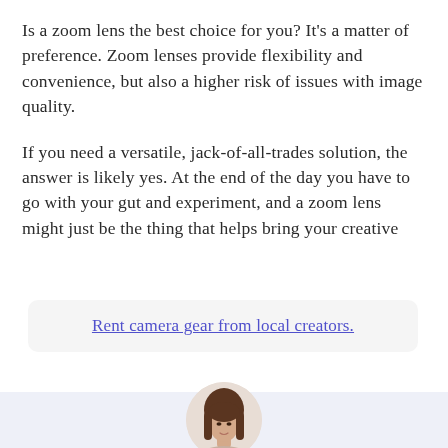Is a zoom lens the best choice for you? It's a matter of preference. Zoom lenses provide flexibility and convenience, but also a higher risk of issues with image quality.
If you need a versatile, jack-of-all-trades solution, the answer is likely yes. At the end of the day you have to go with your gut and experiment, and a zoom lens might just be the thing that helps bring your creative
Rent camera gear from local creators.
[Figure (photo): Circular portrait photo of a young woman with long brown hair, shown from shoulders up, against a light background.]